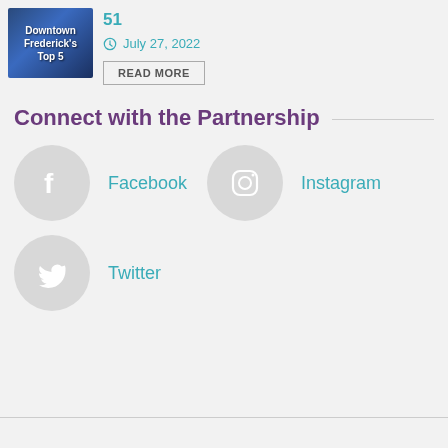[Figure (photo): Thumbnail image with text overlay reading 'Downtown Frederick's Top 5' with a blue/urban background]
51
July 27, 2022
READ MORE
Connect with the Partnership
[Figure (illustration): Facebook icon in gray circle]
Facebook
[Figure (illustration): Instagram icon in gray circle]
Instagram
[Figure (illustration): Twitter icon in gray circle]
Twitter